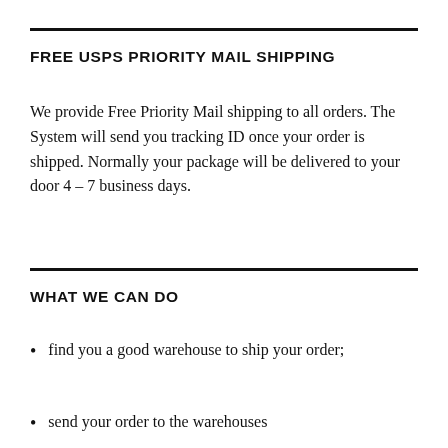FREE USPS PRIORITY MAIL SHIPPING
We provide Free Priority Mail shipping to all orders. The System will send you tracking ID once your order is shipped. Normally your package will be delivered to your door 4 – 7 business days.
WHAT WE CAN DO
find you a good warehouse to ship your order;
send your order to the warehouses